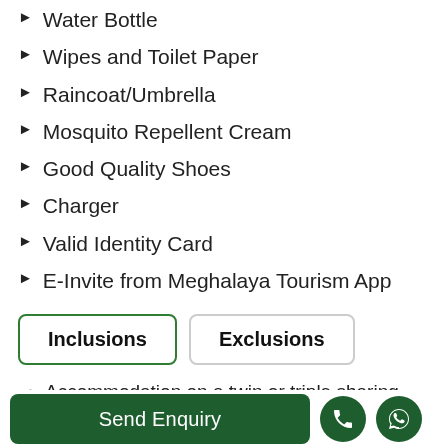Water Bottle
Wipes and Toilet Paper
Raincoat/Umbrella
Mosquito Repellent Cream
Good Quality Shoes
Charger
Valid Identity Card
E-Invite from Meghalaya Tourism App
Inclusions | Exclusions
Accommodation on a twin or triple sharing basis (Customizable) with Complimentary Breakfast.
Send Enquiry